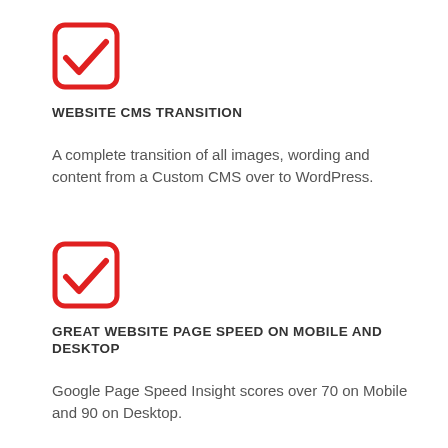[Figure (illustration): Red rounded-square checkbox icon with a red checkmark inside]
WEBSITE CMS TRANSITION
A complete transition of all images, wording and content from a Custom CMS over to WordPress.
[Figure (illustration): Red rounded-square checkbox icon with a red checkmark inside]
GREAT WEBSITE PAGE SPEED ON MOBILE AND DESKTOP
Google Page Speed Insight scores over 70 on Mobile and 90 on Desktop.
[Figure (illustration): Red rounded-square checkbox icon with a red checkmark inside (partially visible at bottom)]